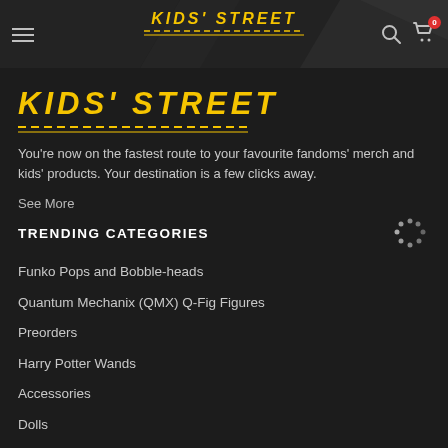KIDS' STREET
KIDS' STREET
You're now on the fastest route to your favourite fandoms' merch and kids' products. Your destination is a few clicks away.
See More
TRENDING CATEGORIES
Funko Pops and Bobble-heads
Quantum Mechanix (QMX) Q-Fig Figures
Preorders
Harry Potter Wands
Accessories
Dolls